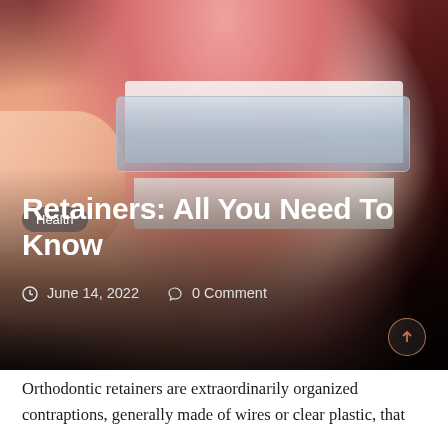[Figure (photo): Close-up photo of a person holding a clear dental retainer/aligner up to their upper teeth, with fingers visible on the left and lips visible at top and bottom. Dark gradient overlay covers the lower portion of the image.]
Health
Retainers: All You Need To Know
June 14, 2022   0 Comment
Orthodontic retainers are extraordinarily organized contraptions, generally made of wires or clear plastic, that